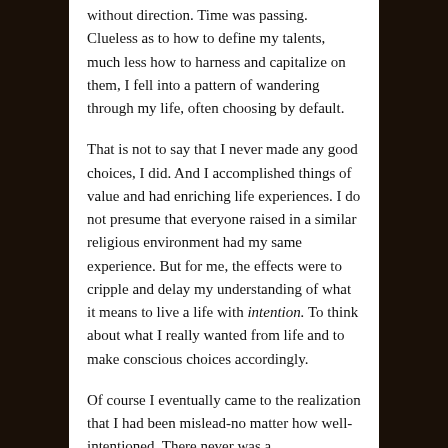without direction. Time was passing. Clueless as to how to define my talents, much less how to harness and capitalize on them, I fell into a pattern of wandering through my life, often choosing by default.
That is not to say that I never made any good choices, I did. And I accomplished things of value and had enriching life experiences. I do not presume that everyone raised in a similar religious environment had my same experience. But for me, the effects were to cripple and delay my understanding of what it means to live a life with intention. To think about what I really wanted from life and to make conscious choices accordingly.
Of course I eventually came to the realization that I had been mislead-no matter how well-intentioned. There never was a
[Figure (photo): Partial view of a painting or artistic image, appearing golden/brown in tone, cut off at the bottom of the page.]